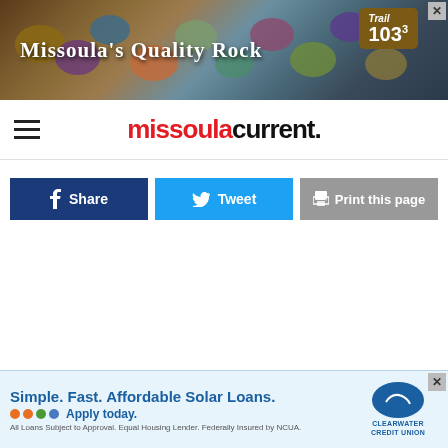[Figure (photo): Top advertisement banner for Missoula's Quality Rock with Trail 103.3 radio station badge, showing colorful rocks in background]
missoulacurrent.
[Figure (infographic): Share bar with three buttons: Facebook Share (dark blue), Tweet (light blue), Print this page (gray)]
The other highest-ranked proposals included:
[Figure (photo): Bottom advertisement for Simple. Fast. Affordable Solar Loans. Apply today. Clearwater Credit Union. All Loans Subject to Approval. Equal Housing Lender. Federally Insured by NCUA.]